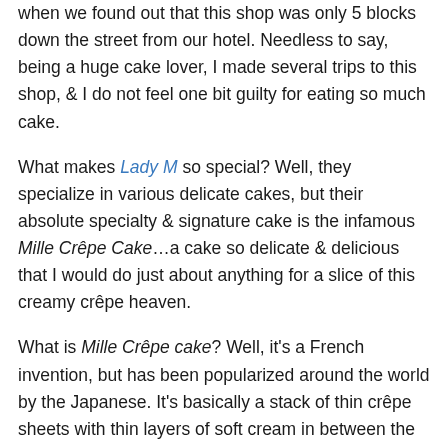when we found out that this shop was only 5 blocks down the street from our hotel. Needless to say, being a huge cake lover, I made several trips to this shop, & I do not feel one bit guilty for eating so much cake.
What makes Lady M so special? Well, they specialize in various delicate cakes, but their absolute specialty & signature cake is the infamous Mille Crêpe Cake…a cake so delicate & delicious that I would do just about anything for a slice of this creamy crêpe heaven.
What is Mille Crêpe cake? Well, it's a French invention, but has been popularized around the world by the Japanese. It's basically a stack of thin crêpe sheets with thin layers of soft cream in between the sheets of crêpes. These cakes, in more recent years, have expanded from the traditional vanilla flavor to other flavors (i.e. matcha